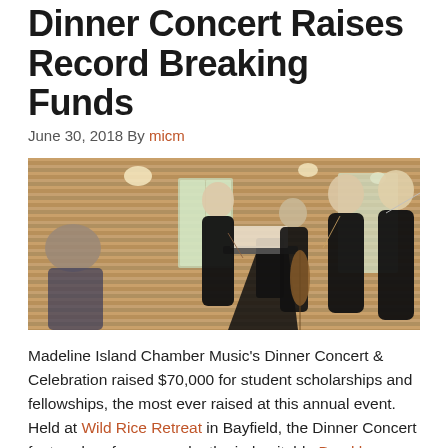Dinner Concert Raises Record Breaking Funds
June 30, 2018 By micm
[Figure (photo): Four young female musicians in black dresses performing in a warmly lit wood-paneled room. An audience member is visible at left. Musicians hold instruments including violin, cello, and flute.]
Madeline Island Chamber Music's Dinner Concert & Celebration raised $70,000 for student scholarships and fellowships, the most ever raised at this annual event. Held at Wild Rice Retreat in Bayfield, the Dinner Concert featured performances by the indomitable Brooklyn Rider as well as a Fellowship String Quartet, one of our advanced student quartets. The live auction and fund-a-need auction sparked lively bidding amongst the sold-out crowd. The evening was a celebration of music and Madeline Island Chamber Music's